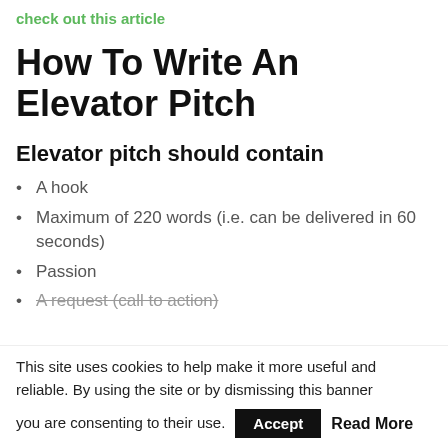check out this article
How To Write An Elevator Pitch
Elevator pitch should contain
A hook
Maximum of 220 words (i.e. can be delivered in 60 seconds)
Passion
A request (call to action)
This site uses cookies to help make it more useful and reliable. By using the site or by dismissing this banner you are consenting to their use.  Accept  Read More